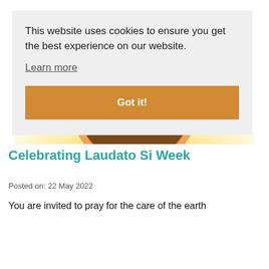[Figure (illustration): A sun and globe illustration with a banner reading 'IN A CHANGING WORLD', partially visible at the top of the page.]
Celebrating Laudato Si Week
Posted on: 22 May 2022
You are invited to pray for the care of the earth
This website uses cookies to ensure you get the best experience on our website.
Learn more
Got it!